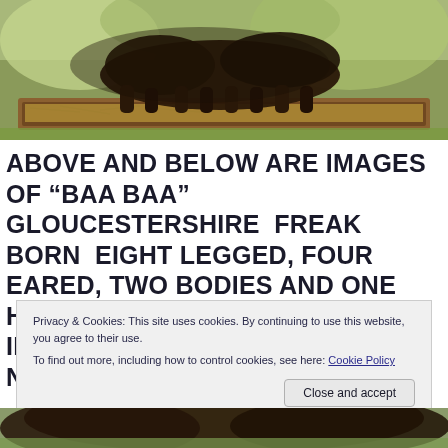[Figure (photo): Photo of 'Baa Baa' the eight-legged lamb specimen mounted on a wooden tray with straw, outdoors on grass]
ABOVE AND BELOW ARE IMAGES OF "BAA BAA" GLOUCESTERSHIRE  FREAK BORN  EIGHT LEGGED, FOUR EARED, TWO BODIES AND ONE HEADED LAMB HERE ON DISPLAY IN AMONGST OUR FREAKS OF NATURE COLLECTIONS .
Privacy & Cookies: This site uses cookies. By continuing to use this website, you agree to their use.
To find out more, including how to control cookies, see here: Cookie Policy
[Figure (photo): Partial photo of the 'Baa Baa' specimen at the bottom of the page]